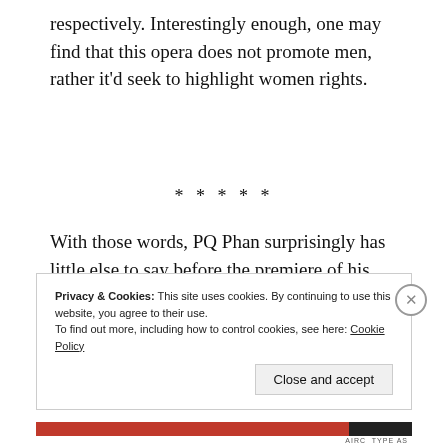respectively. Interestingly enough, one may find that this opera does not promote men, rather it'd seek to highlight women rights.
* * * * *
With those words, PQ Phan surprisingly has little else to say before the premiere of his opera. Excited, and nonetheless fully confident in the production team, he leans back to the audience chair, anxiously waiting for the curtains to roll.
Privacy & Cookies: This site uses cookies. By continuing to use this website, you agree to their use.
To find out more, including how to control cookies, see here: Cookie Policy
Close and accept